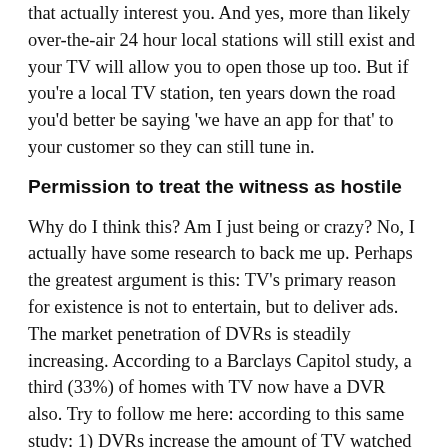that actually interest you. And yes, more than likely over-the-air 24 hour local stations will still exist and your TV will allow you to open those up too. But if you're a local TV station, ten years down the road you'd better be saying 'we have an app for that' to your customer so they can still tune in.
Permission to treat the witness as hostile
Why do I think this? Am I just being or crazy? No, I actually have some research to back me up. Perhaps the greatest argument is this: TV's primary reason for existence is not to entertain, but to deliver ads. The market penetration of DVRs is steadily increasing. According to a Barclays Capitol study, a third (33%) of homes with TV now have a DVR also. Try to follow me here: according to this same study: 1) DVRs increase the amount of TV watched 2) most of these DVRs are new within the past year 3) People who haven't had DVRs as